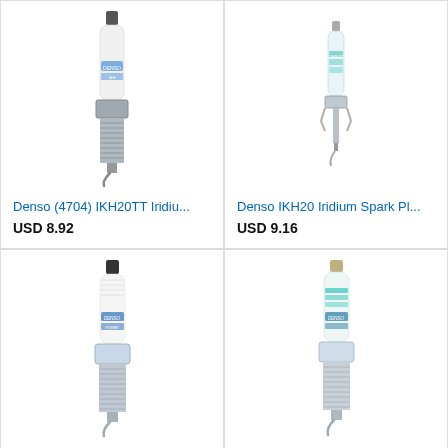[Figure (illustration): Denso IKH20TT Iridium spark plug, full view, white ceramic insulator with blue Denso branding, metal hex body and threaded electrode]
Denso (4704) IKH20TT Iridiu...
USD 8.92
[Figure (illustration): Denso IKH20 Iridium spark plug, smaller view, white/light blue ceramic insulator with teal Denso branding, thin iridium tip]
Denso IKH20 Iridium Spark Pl...
USD 9.16
[Figure (illustration): Denso (5344) IKH20 Iridium spark plug, full view, white ceramic insulator with Denso Power branding, chrome hex body and threaded electrode]
Denso (5344) IKH20 Iridium ...
USD 9.16
[Figure (illustration): Denso 5344 Iridium spark plug, full view, white ceramic insulator with teal Denso branding, chrome hex body]
Denso 5344 Iridium Spark Plu...
USD 8.94